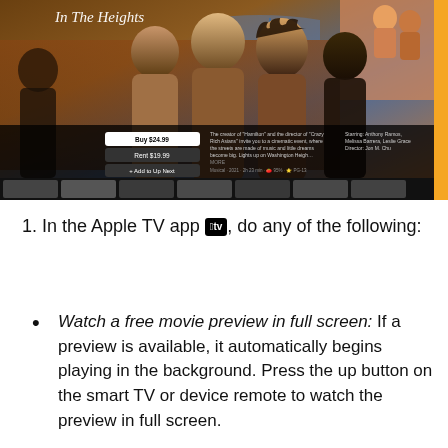[Figure (screenshot): Apple TV app screenshot showing 'In The Heights' movie page with Buy $24.99, Rent $19.99, and Add to Up Next buttons, movie description, cast info, and a filmstrip of thumbnails at the bottom.]
1. In the Apple TV app [Apple TV badge], do any of the following:
Watch a free movie preview in full screen: If a preview is available, it automatically begins playing in the background. Press the up button on the smart TV or device remote to watch the preview in full screen.